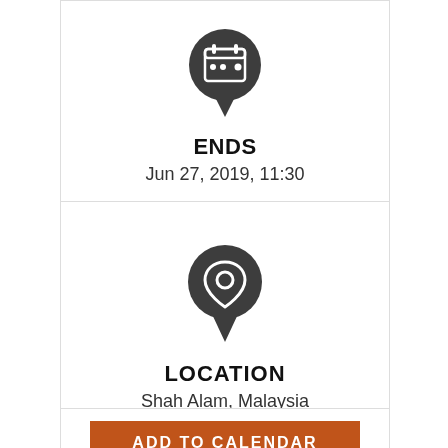[Figure (illustration): Dark circular icon with a calendar symbol inside (drop-pin shape with pointed bottom), representing event end date]
ENDS
Jun 27, 2019, 11:30
[Figure (illustration): Dark teardrop/map-pin shaped icon with a location pin symbol inside, representing a location marker]
LOCATION
Shah Alam, Malaysia
ADD TO CALENDAR